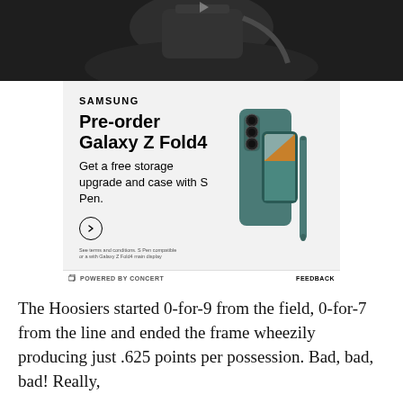[Figure (photo): Dark photo of a person, partially visible, taken from an angle — top portion of article page]
[Figure (advertisement): Samsung advertisement: Pre-order Galaxy Z Fold4. Get a free storage upgrade and case with S Pen. Shows a teal/green Samsung Galaxy Z Fold4 with S Pen.]
POWERED BY CONCERT   FEEDBACK
The Hoosiers started 0-for-9 from the field, 0-for-7 from the line and ended the frame wheezily producing just .625 points per possession. Bad, bad, bad! Really,